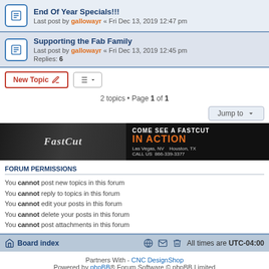End Of Year Specials!!! Last post by gallowayr « Fri Dec 13, 2019 12:47 pm
Supporting the Fab Family Last post by gallowayr « Fri Dec 13, 2019 12:45 pm Replies: 6
2 topics • Page 1 of 1
[Figure (screenshot): FastCut CNC advertisement banner: Come see a FastCut IN ACTION, Las Vegas NV, Houston TX, Call Us 866-339-3377]
FORUM PERMISSIONS
You cannot post new topics in this forum
You cannot reply to topics in this forum
You cannot edit your posts in this forum
You cannot delete your posts in this forum
You cannot post attachments in this forum
Board index   All times are UTC-04:00
Partners With - CNC DesignShop
Powered by phpBB® Forum Software © phpBB Limited
Privacy | Terms